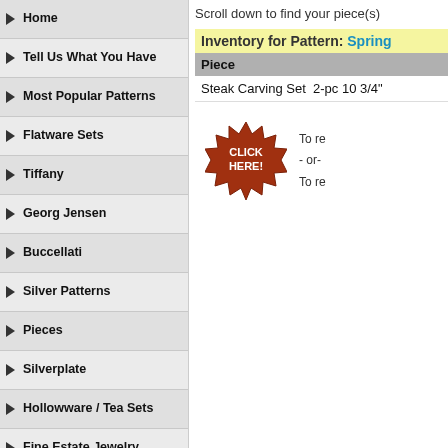Home
Tell Us What You Have
Most Popular Patterns
Flatware Sets
Tiffany
Georg Jensen
Buccellati
Silver Patterns
Pieces
Silverplate
Hollowware / Tea Sets
Fine Estate Jewelry
Danish Plates
Christmas Ornaments
Sterling Baby Items
Flora Danica
Royal Copenhagen China
Polish & Silver Storage
Books
Scroll down to find your piece(s)
Inventory for Pattern: Spring
| Piece |
| --- |
| Steak Carving Set  2-pc 10 3/4" |
[Figure (illustration): Red starburst CLICK HERE button with text 'To re - or - To re' next to it]